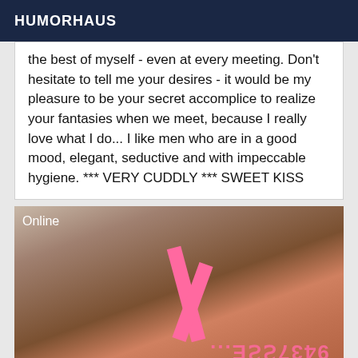HUMORHAUS
the best of myself - even at every meeting. Don't hesitate to tell me your desires - it would be my pleasure to be your secret accomplice to realize your fantasies when we meet, because I really love what I do... I like men who are in a good mood, elegant, seductive and with impeccable hygiene. *** VERY CUDDLY *** SWEET KISS
[Figure (photo): Close-up photo with pink strap visible and mirrored phone number text overlay reading approximately 9437566...]